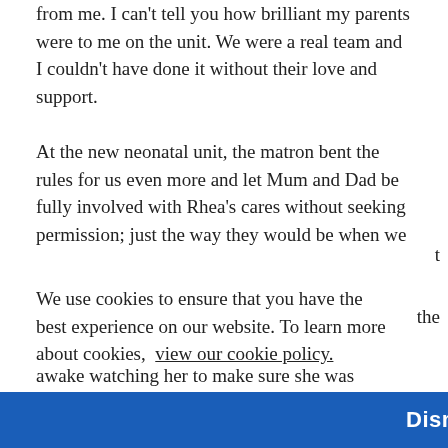from me. I can't tell you how brilliant my parents were to me on the unit. We were a real team and I couldn't have done it without their love and support.
At the new neonatal unit, the matron bent the rules for us even more and let Mum and Dad be fully involved with Rhea's cares without seeking permission; just the way they would be when we
We use cookies to ensure that you have the best experience on our website. To learn more about cookies, view our cookie policy.
awake watching her to make sure she was